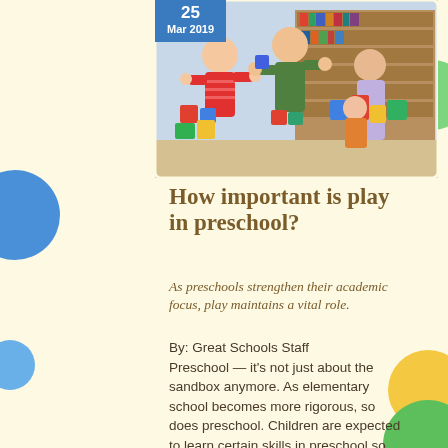25 Mar 2019
[Figure (photo): Children playing with colorful building blocks in a preschool classroom, with a teacher in the background near bookshelves]
How important is play in preschool?
As preschools strengthen their academic focus, play maintains a vital role.
By: Great Schools Staff
Preschool — it's not just about the sandbox anymore. As elementary school becomes more rigorous, so does preschool. Children are expected to learn certain skills in preschool so that they are prepared for elementary school. Considering the limited time in a